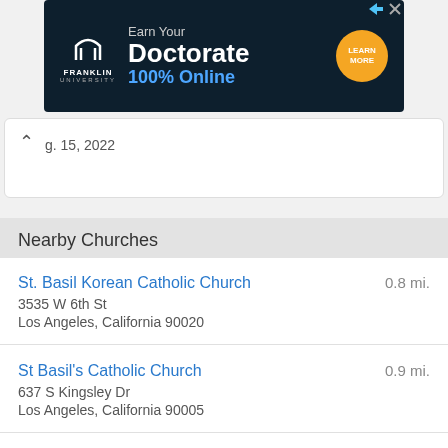[Figure (infographic): Franklin University advertisement banner: dark navy background, Franklin University logo on the left, text 'Earn Your Doctorate 100% Online' in the center, orange circular 'LEARN MORE' CTA button on the right]
g. 15, 2022
Nearby Churches
St. Basil Korean Catholic Church
3535 W 6th St
Los Angeles, California 90020
0.8 mi.
St Basil's Catholic Church
637 S Kingsley Dr
Los Angeles, California 90005
0.9 mi.